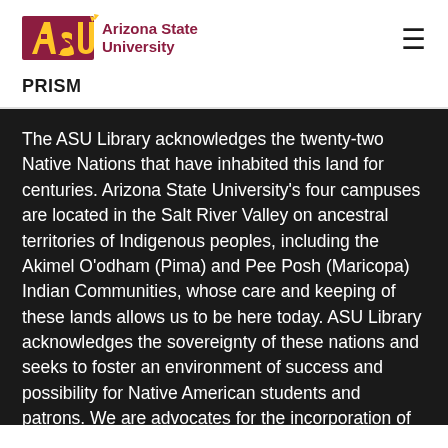[Figure (logo): Arizona State University logo with ASU text in maroon and gold sunburst, followed by 'Arizona State University' text in maroon]
PRISM
The ASU Library acknowledges the twenty-two Native Nations that have inhabited this land for centuries. Arizona State University's four campuses are located in the Salt River Valley on ancestral territories of Indigenous peoples, including the Akimel O'odham (Pima) and Pee Posh (Maricopa) Indian Communities, whose care and keeping of these lands allows us to be here today. ASU Library acknowledges the sovereignty of these nations and seeks to foster an environment of success and possibility for Native American students and patrons. We are advocates for the incorporation of Indigenous knowledge systems and research methodologies within contemporary library practice. ASU Library welcomes members of the Akimel O'odham and Pee Posh, and all Native nations to the